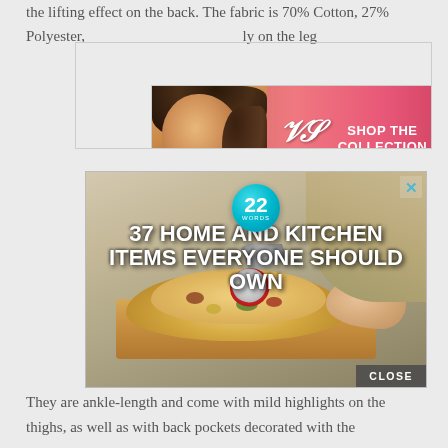the lifting effect on the back. The fabric is 70% Cotton, 27% Polyester, 3% Elastane, you can also find a lovely on the leg
[Figure (infographic): Victoria's Secret advertisement banner with model face, VS logo, 'SHOP THE COLLECTION' text, and 'SHOP NOW' button]
[Figure (infographic): Advertisement for '37 Home and Kitchen Items Everyone Should Own' featuring a pizza cutter over a pizza, with a teal badge showing '22 WORDS', a CLOSE button, and an X close button]
They are ankle-length and come with mild highlights on the thighs, as well as with back pockets decorated with the